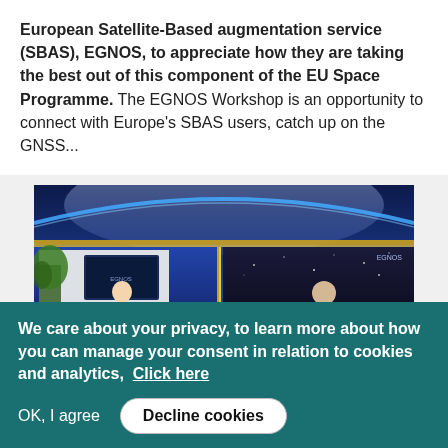European Satellite-Based augmentation service (SBAS), EGNOS, to appreciate how they are taking the best out of this component of the EU Space Programme. The EGNOS Workshop is an opportunity to connect with Europe's SBAS users, catch up on the GNSS...
[Figure (photo): Virtual event studio showing two presenters in separate video feeds on a blue-themed broadcast set with gold accents. Left feed shows a woman in white standing in front of a plant and screen; right feed shows a man in a suit.]
We care about your privacy, to learn more about how you can manage your consent in relation to cookies and analytics, Click here
OK, I agree   Decline cookies